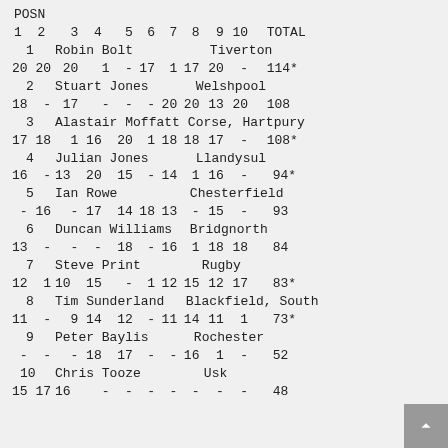| POSN |  | 1 | 2 | 3 | 4 | 5 | 6 | 7 | 8 | 9 | 10 | TOTAL |
| --- | --- | --- | --- | --- | --- | --- | --- | --- | --- | --- | --- | --- |
| 1 | Robin Bolt |  |  |  |  |  |  |  |  |  | Tiverton |  |
|  | 20 | 20 | 20 | 1 | - | 17 | 1 | 17 | 20 | - | 114* |
| 2 | Stuart Jones |  |  |  |  |  |  |  |  |  | Welshpool |  |
|  | 18 | - | 17 | - | - | - | 20 | 20 | 13 | 20 | 108 |
| 3 | Alastair Moffatt |  |  |  |  |  |  |  |  |  | Corse, Hartpury |  |
|  | 17 | 18 | 1 | 16 | 20 | 1 | 18 | 18 | 17 | - | 108* |
| 4 | Julian Jones |  |  |  |  |  |  |  |  |  | Llandysul |  |
|  | 16 | - | 13 | 20 | 15 | - | 14 | 1 | 16 | - | 94* |
| 5 | Ian Rowe |  |  |  |  |  |  |  |  |  | Chesterfield |  |
|  | - | 16 | - | 17 | 14 | 18 | 13 | - | 15 | - | 93 |
| 6 | Duncan Williams |  |  |  |  |  |  |  |  |  | Bridgnorth |  |
|  | 13 | - | - | - | 18 | - | 16 | 1 | 18 | 18 | 84 |
| 7 | Steve Print |  |  |  |  |  |  |  |  |  | Rugby |  |
|  | 12 | 1 | 10 | 15 | - | 1 | 12 | 15 | 12 | 17 | 83* |
| 8 | Tim Sunderland |  |  |  |  |  |  |  |  |  | Blackfield, South |  |
|  | 11 | - | 9 | 14 | 12 | - | 11 | 14 | 11 | 1 | 73* |
| 9 | Peter Baylis |  |  |  |  |  |  |  |  |  | Rochester |  |
|  | - | - | - | 18 | 17 | - | - | 16 | 1 | - | 52 |
| 10 | Chris Tooze |  |  |  |  |  |  |  |  |  | Usk |  |
|  | 15 | 17 | 16 | - | - | - | - | - | - | - | 48 |